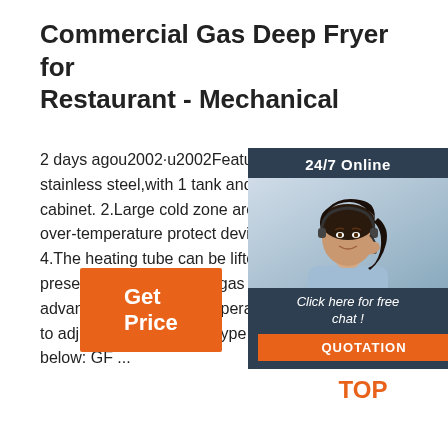Commercial Gas Deep Fryer for Restaurant - Mechanical
2 days agou2002·u2002Feature: 1.High stainless steel,with 1 tank and 2 basket cabinet. 2.Large cold zone area. 3.With over-temperature protect device,higher 4.The heating tube can be lifted up.Th preset to city gas,natural gas and LPG advanced thermostat temperature con to adjust. Some optional type of Gas F below: GF ...
[Figure (photo): Customer service representative with headset, with 24/7 Online chat widget overlay and QUOTATION button]
[Figure (logo): TOP logo with orange dots forming a triangle above the word TOP]